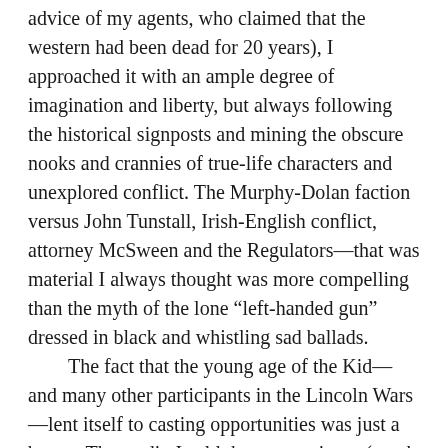advice of my agents, who claimed that the western had been dead for 20 years), I approached it with an ample degree of imagination and liberty, but always following the historical signposts and mining the obscure nooks and crannies of true-life characters and unexplored conflict. The Murphy-Dolan faction versus John Tunstall, Irish-English conflict, attorney McSween and the Regulators—that was material I always thought was more compelling than the myth of the lone “left-handed gun” dressed in black and whistling sad ballads.
	The fact that the young age of the Kid—and many other participants in the Lincoln Wars—lent itself to casting opportunities was just a bonus. The studio I sold the spec script to (much to the delight of my shocked agents) saw the marketing gold there, but it all started with me and a lifetime fascination with the history.
	Every young male star, from Sean Penn to Tom Cruise, wanted to saddle up for the movie. After we cast Emilio Estevez as Billy, the actor joined me for another research trip to Lincoln and an immersion period (during which he